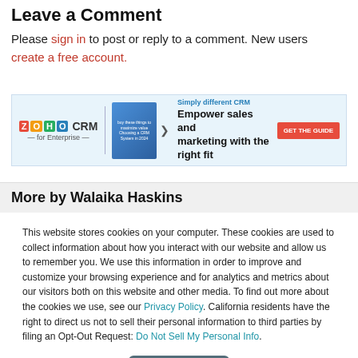Leave a Comment
Please sign in to post or reply to a comment. New users create a free account.
[Figure (infographic): Zoho CRM for Enterprise advertisement banner with tagline 'Simply different CRM', headline 'Empower sales and marketing with the right fit', and a red 'GET THE GUIDE' button]
More by Walaika Haskins
This website stores cookies on your computer. These cookies are used to collect information about how you interact with our website and allow us to remember you. We use this information in order to improve and customize your browsing experience and for analytics and metrics about our visitors both on this website and other media. To find out more about the cookies we use, see our Privacy Policy. California residents have the right to direct us not to sell their personal information to third parties by filing an Opt-Out Request: Do Not Sell My Personal Info.